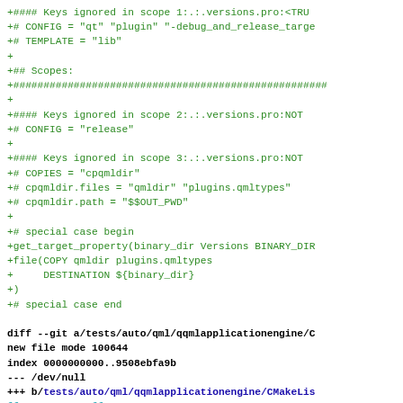Code diff showing CMakeLists.txt changes including scope keys, scopes, file copy operations, and diff header for tests/auto/qml/qqmlapplicationengine/CMakeLists.txt